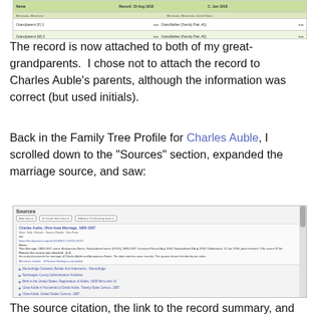[Figure (screenshot): Screenshot of a genealogy software interface showing records attached to great-grandparents, with rows of data and a green-tinted background]
The record is now attached to both of my great-grandparents.  I chose not to attach the record to Charles Auble's parents, although the information was correct (but used initials).
Back in the Family Tree Profile for Charles Auble, I scrolled down to the "Sources" section, expanded the marriage source, and saw:
[Figure (screenshot): Screenshot of a Family Tree Profile Sources section showing an expanded marriage source with citation details, URL, and a list of other source items]
The source citation, the link to the record summary, and my